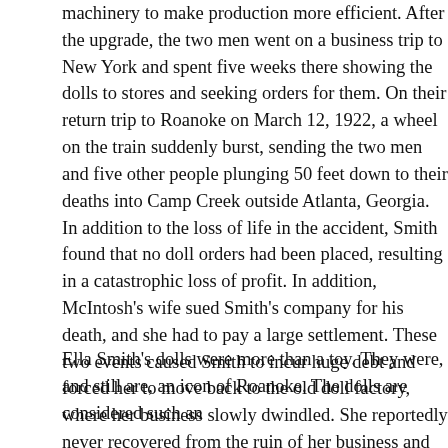machinery to make production more efficient. After the upgrade, the two men went on a business trip to New York and spent five weeks there showing the dolls to stores and seeking orders for them. On their return trip to Roanoke on March 12, 1922, a wheel on the train suddenly burst, sending the two men and five other people plunging 50 feet down to their deaths into Camp Creek outside Atlanta, Georgia. In addition to the loss of life in the accident, Smith found that no doll orders had been placed, resulting in a catastrophic loss of profit. In addition, McIntosh's wife sued Smith's company for his death, and she had to pay a large settlement. These two events caused Smith to incur huge debt and forced her to move back to the old doll factory, where her business slowly dwindled. She reportedly never recovered from the ruin of her business and lived out the rest of her life isolated from the community. Smith died on April 2, 1932, from complications of diabetes and kidney disease and was buried in Cedarwood Cemetery.
Ella Smith's dolls were more than a toy. They were, and still are, an icon of Roanoke. The dolls are considered such an